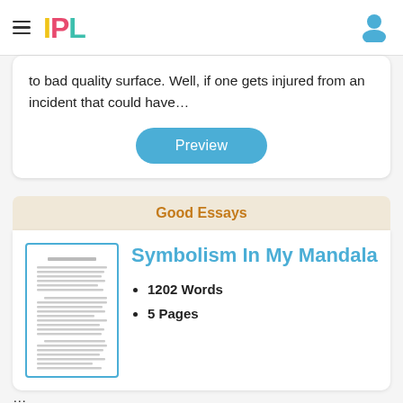IPL
to bad quality surface. Well, if one gets injured from an incident that could have…
Good Essays
Symbolism In My Mandala
1202 Words
5 Pages
...